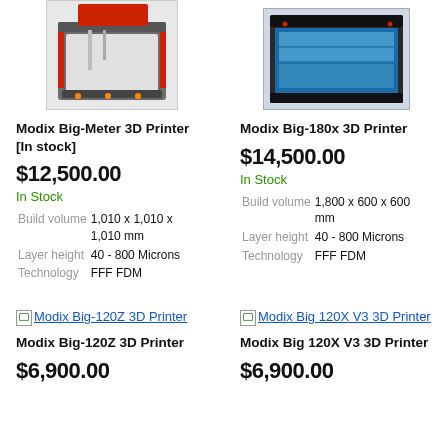[Figure (photo): Modix Big-Meter 3D Printer photo — large industrial 3D printer with red accents and gray enclosure]
[Figure (photo): Modix Big-180x 3D Printer photo — large 3D printer with blue accents and dark enclosure]
Modix Big-Meter 3D Printer [In stock]
Modix Big-180x 3D Printer
$12,500.00
$14,500.00
In Stock
In Stock
| Build volume | 1,010 x 1,010 x 1,010 mm |
| Layer height | 40 - 800 Microns |
| Technology | FFF FDM |
| Build volume | 1,800 x 600 x 600 mm |
| Layer height | 40 - 800 Microns |
| Technology | FFF FDM |
[Figure (photo): Modix Big-120Z 3D Printer — broken image link placeholder]
[Figure (photo): Modix Big 120X V3 3D Printer — broken image link placeholder]
Modix Big-120Z 3D Printer
Modix Big 120X V3 3D Printer
$6,900.00
$6,900.00